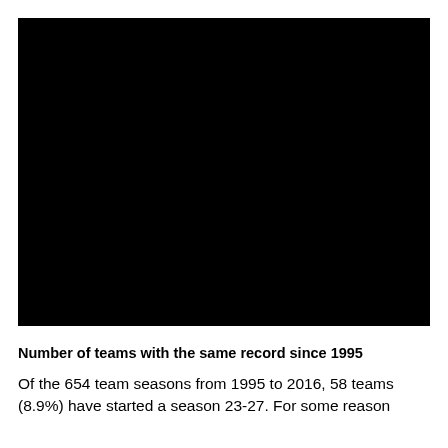[Figure (photo): A large black image occupying the upper portion of the page.]
Number of teams with the same record since 1995
Of the 654 team seasons from 1995 to 2016, 58 teams (8.9%) have started a season 23-27.  For some reason